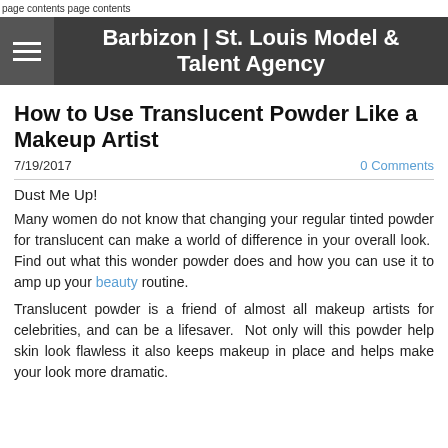page contents page contents
Barbizon | St. Louis Model & Talent Agency
How to Use Translucent Powder Like a Makeup Artist
7/19/2017
0 Comments
Dust Me Up!
Many women do not know that changing your regular tinted powder for translucent can make a world of difference in your overall look.  Find out what this wonder powder does and how you can use it to amp up your beauty routine.
Translucent powder is a friend of almost all makeup artists for celebrities, and can be a lifesaver.  Not only will this powder help skin look flawless it also keeps makeup in place and helps make your look more dramatic.